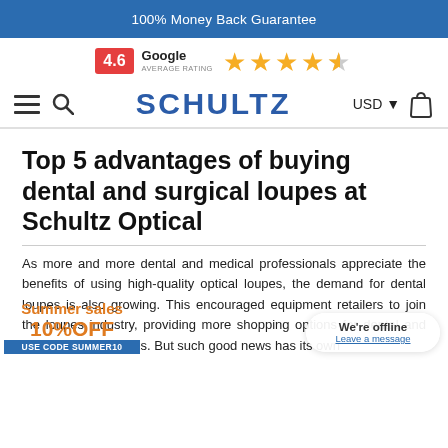100% Money Back Guarantee
[Figure (infographic): Google average rating badge showing 4.6 out of 5 stars with 4 full stars and 1 half star]
SCHULTZ — navigation bar with hamburger menu, search icon, brand name SCHULTZ, USD currency selector, and shopping bag icon
Top 5 advantages of buying dental and surgical loupes at Schultz Optical
As more and more dental and medical professionals appreciate the benefits of using high-quality optical loupes, the demand for dental loupes is also growing. This encouraged equipment retailers to join the loupes industry, providing more shopping options for dental and medical professionals. But such good news has its own